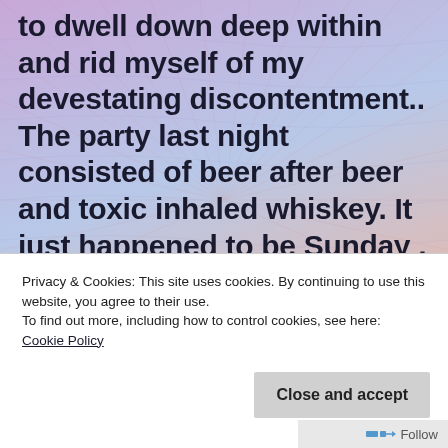to dwell down deep within and rid myself of my devestating discontentment.. The party last night consisted of beer after beer and toxic inhaled whiskey. It just happened to be Sunday , a day of prolonged agony as the beer store didnt open till 1pm, so i had to wait untill then to grasp a can of cold beer to rid myself of trembling nerves. But now i had the personal activity of procuring small change via
Privacy & Cookies: This site uses cookies. By continuing to use this website, you agree to their use.
To find out more, including how to control cookies, see here: Cookie Policy